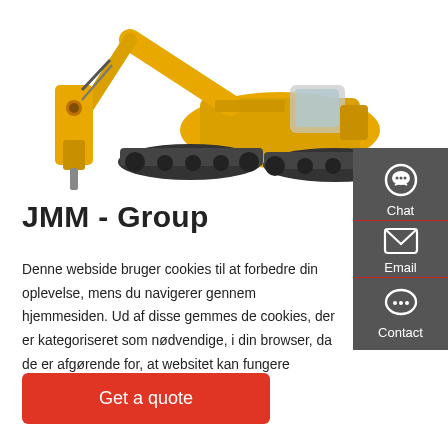[Figure (photo): Yellow excavator with hydraulic attachment on white background]
JMM - Group
Denne webside bruger cookies til at forbedre din oplevelse, mens du navigerer gennem hjemmesiden. Ud af disse gemmes de cookies, der er kategoriseret som nødvendige, i din browser, da de er afgørende for, at websitet kan fungere grundlæggende.
Get a quote